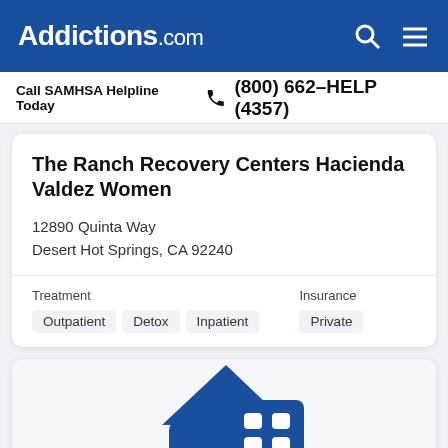Addictions.com
Call SAMHSA Helpline Today  (800) 662-HELP (4357)
The Ranch Recovery Centers Hacienda Valdez Women
12890 Quinta Way
Desert Hot Springs, CA 92240
Treatment: Outpatient  Detox  Inpatient
Insurance: Private
[Figure (illustration): Blue house/building icon with windows, partially visible at bottom of page]